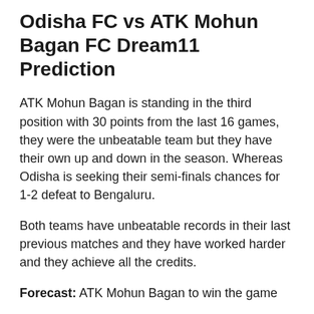Odisha FC vs ATK Mohun Bagan FC Dream11 Prediction
ATK Mohun Bagan is standing in the third position with 30 points from the last 16 games, they were the unbeatable team but they have their own up and down in the season. Whereas Odisha is seeking their semi-finals chances for 1-2 defeat to Bengaluru.
Both teams have unbeatable records in their last previous matches and they have worked harder and they achieve all the credits.
Forecast: ATK Mohun Bagan to win the game